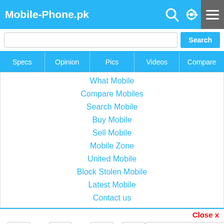Mobile-Phone.pk
Search
Specs | Opinion | Pics | Videos | Compare
What Mobile
Compare Mobiles
Search Mobile
Buy Mobile
Sell Mobile
Mobile Zone
United Mobile
Block Stolen Mobile
Latest Mobile
Contact us
Close x
2 Share | 3 WhatsApp | 12 Tweet | 1 Pin | 0 Recommend
Latest Mobiles | Samsung | Huawei | Vivo | Infinix | Honor | Oppo | Realme | Tecno